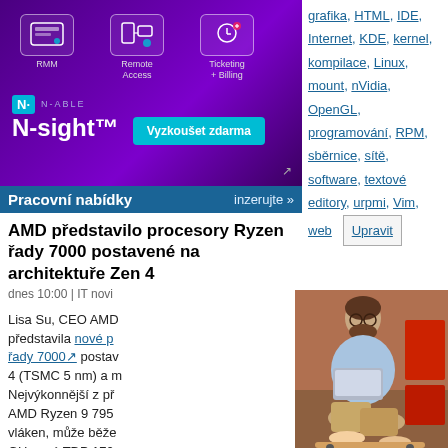[Figure (photo): N-sight advertisement banner with purple background showing RMM, Remote Access, and Ticketing+Billing icons, N-ABLE N-sight logo and Vyzkoušet zdarma (Try for free) button]
Pracovní nabídky   inzerujte »
AMD představilo procesory Ryzen řady 7000 postavené na architektuře Zen 4
dnes 10:00 | IT novi
Lisa Su, CEO AMD představila nové procesory řady 7000↗ postav 4 (TSMC 5 nm) a m Nejvýkonnější z př AMD Ryzen 9 795 vláken, může běže GHz, má TDP 170 stanovena na 699
Ladislav Hagara | Ko
Pomozte vylepšit info-collect)
dnes 09:00 | Komu
grafika, HTML, IDE, Internet, KDE, kernel, kompilace, Linux, mount, nVidia, OpenGL, programování, RPM, sběrnice, sítě, software, textové editory, urpmi, Vim, web
[Figure (photo): Man with glasses and beard sitting on skateboard working on laptop, wearing light blue shirt and beige pants, urban background with red containers]